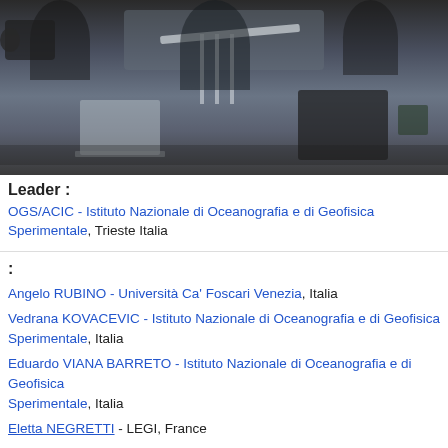[Figure (photo): Laboratory scene with people working with scientific equipment, cables, and instruments on a table]
Leader :
OGS/ACIC - Istituto Nazionale di Oceanografia e di Geofisica Sperimentale, Trieste Italia
:
Angelo RUBINO - Università Ca' Foscari Venezia, Italia
Vedrana KOVACEVIC - Istituto Nazionale di Oceanografia e di Geofisica Sperimentale, Italia
Eduardo VIANA BARRETO - Istituto Nazionale di Oceanografia e di Geofisica Sperimentale, Italia
Eletta NEGRETTI - LEGI, France
European project Hydralab+